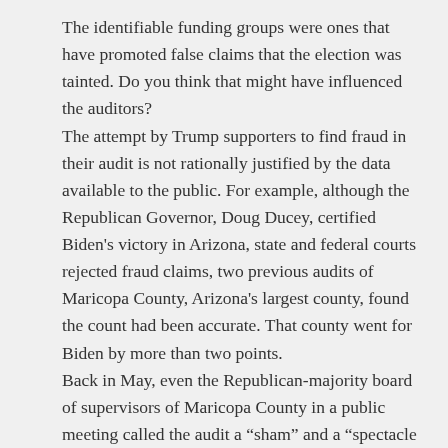The identifiable funding groups were ones that have promoted false claims that the election was tainted. Do you think that might have influenced the auditors? The attempt by Trump supporters to find fraud in their audit is not rationally justified by the data available to the public. For example, although the Republican Governor, Doug Ducey, certified Biden's victory in Arizona, state and federal courts rejected fraud claims, two previous audits of Maricopa County, Arizona's largest county, found the count had been accurate. That county went for Biden by more than two points. Back in May, even the Republican-majority board of supervisors of Maricopa County in a public meeting called the audit a “sham” and a “spectacle that is harming all of us.” The Board Chair called the recount a “grift disguised as an audit” because Trump supporters raised funds for the recount